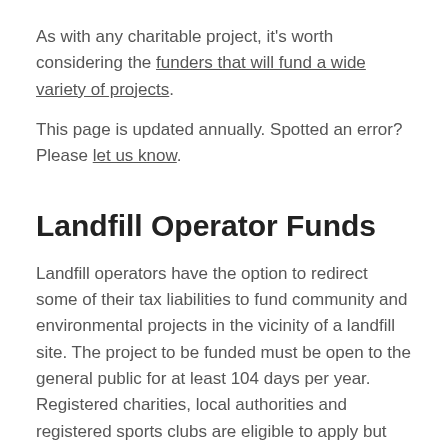As with any charitable project, it's worth considering the funders that will fund a wide variety of projects.
This page is updated annually. Spotted an error? Please let us know.
Landfill Operator Funds
Landfill operators have the option to redirect some of their tax liabilities to fund community and environmental projects in the vicinity of a landfill site. The project to be funded must be open to the general public for at least 104 days per year. Registered charities, local authorities and registered sports clubs are eligible to apply but check the specific eligibility criteria for each fund.